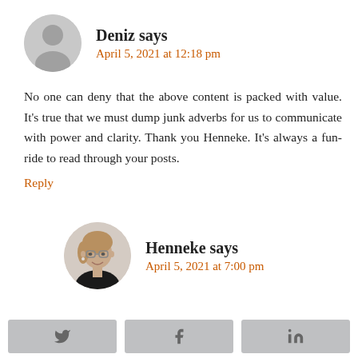Deniz says
April 5, 2021 at 12:18 pm
No one can deny that the above content is packed with value. It’s true that we must dump junk adverbs for us to communicate with power and clarity. Thank you Henneke. It’s always a fun-ride to read through your posts.
Reply
Henneke says
April 5, 2021 at 7:00 pm